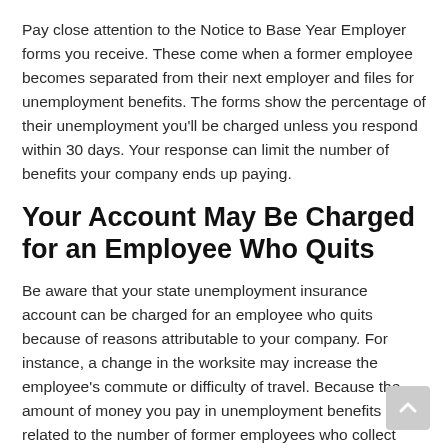Pay close attention to the Notice to Base Year Employer forms you receive. These come when a former employee becomes separated from their next employer and files for unemployment benefits. The forms show the percentage of their unemployment you'll be charged unless you respond within 30 days. Your response can limit the number of benefits your company ends up paying.
Your Account May Be Charged for an Employee Who Quits
Be aware that your state unemployment insurance account can be charged for an employee who quits because of reasons attributable to your company. For instance, a change in the worksite may increase the employee's commute or difficulty of travel. Because the amount of money you pay in unemployment benefits is related to the number of former employees who collect payments after leaving your company, you want to keep